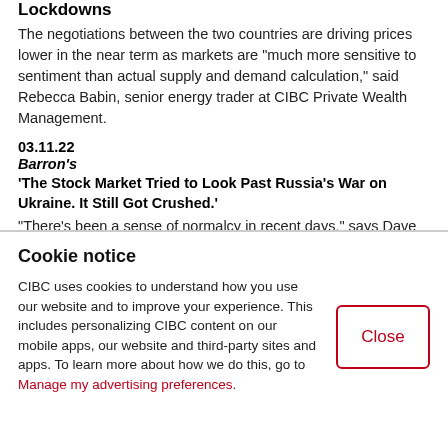Lockdowns
The negotiations between the two countries are driving prices lower in the near term as markets are "much more sensitive to sentiment than actual supply and demand calculation," said Rebecca Babin, senior energy trader at CIBC Private Wealth Management.
03.11.22
Barron's
'The Stock Market Tried to Look Past Russia's War on Ukraine. It Still Got Crushed.'
"There's been a sense of normalcy in recent days," says Dave
Cookie notice
CIBC uses cookies to understand how you use our website and to improve your experience. This includes personalizing CIBC content on our mobile apps, our website and third-party sites and apps. To learn more about how we do this, go to Manage my advertising preferences.